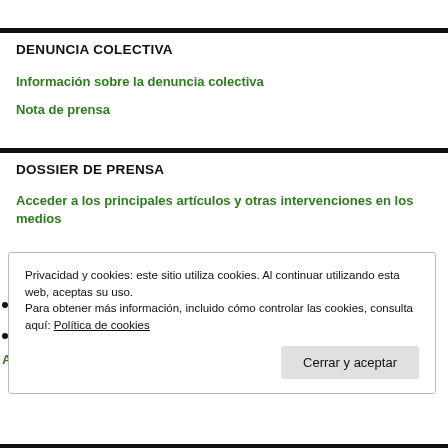DENUNCIA COLECTIVA
Información sobre la denuncia colectiva
Nota de prensa
DOSSIER DE PRENSA
Acceder a los principales artículos y otras intervenciones en los medios
Privacidad y cookies: este sitio utiliza cookies. Al continuar utilizando esta web, aceptas su uso.
Para obtener más información, incluido cómo controlar las cookies, consulta aquí: Política de cookies
Cerrar y aceptar